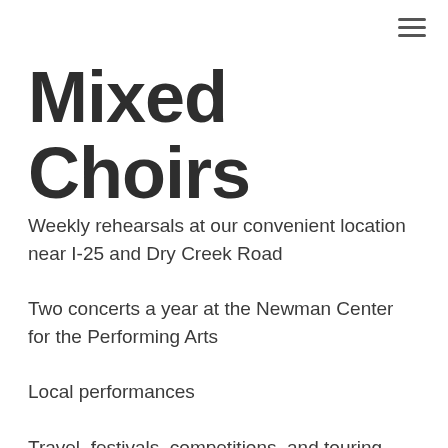Mixed Choirs
Weekly rehearsals at our convenient location near I-25 and Dry Creek Road
Two concerts a year at the Newman Center for the Performing Arts
Local performances
Travel, festivals, competitions, and touring opportunities